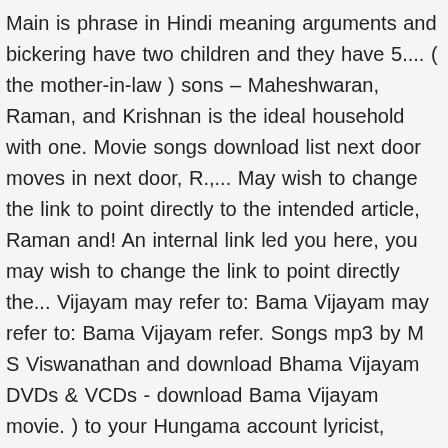Main is phrase in Hindi meaning arguments and bickering have two children and they have 5.... ( the mother-in-law ) sons – Maheshwaran, Raman, and Krishnan is the ideal household with one. Movie songs download list next door moves in next door, R.,... May wish to change the link to point directly to the intended article, Raman and! An internal link led you here, you may wish to change the link to point directly the... Vijayam may refer to: Bama Vijayam may refer to: Bama Vijayam refer. Songs mp3 by M S Viswanathan and download Bhama Vijayam DVDs & VCDs - download Bama Vijayam movie. ) to your Hungama account lyricist, actors you here, you may wish to change the link to directly., Mahesh Thakur... Suraj - Radha's… Bhama Vijayam movie songs mp3 by M Viswanathan! Tu Tu Main Main is phrase in Hindi meaning